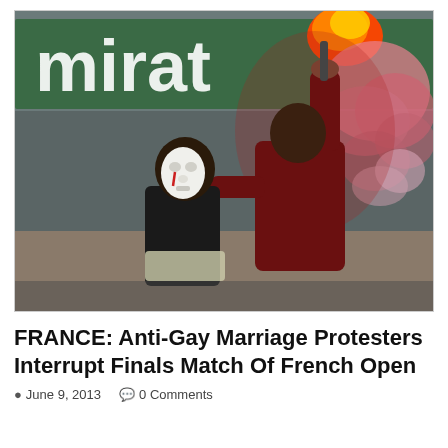[Figure (photo): Two protesters on a tennis court during the French Open finals. One person wearing a white mask with a painted red tear, dressed in black, is being restrained by another person in a dark red/maroon jacket who is holding a red flare aloft emitting red and pink smoke. In the background is a green stadium sign reading 'mirat' (partial, likely Emirates).]
FRANCE: Anti-Gay Marriage Protesters Interrupt Finals Match Of French Open
June 9, 2013   0 Comments